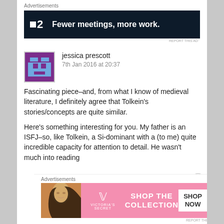Advertisements
[Figure (screenshot): Dark navy advertisement banner: square logo with '2' and tagline 'Fewer meetings, more work.']
REPORT THIS AD
jessica prescott
7th Jan 2016 at 20:37
Fascinating piece–and, from what I know of medieval literature, I definitely agree that Tolkein's stories/concepts are quite similar.
Here's something interesting for you. My father is an ISFJ–so, like Tolkein, a Si-dominant with a (to me) quite incredible capacity for attention to detail. He wasn't much into reading
Advertisements
[Figure (screenshot): Victoria's Secret advertisement banner in pink: model photo, VS logo, 'SHOP THE COLLECTION', 'SHOP NOW' button]